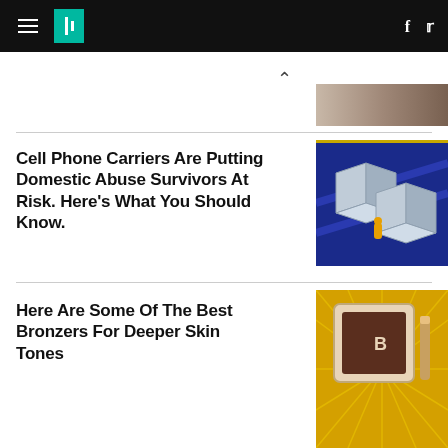HuffPost navigation header with hamburger menu, logo, Facebook and Twitter icons
[Figure (photo): Partial image of hands visible at top right]
[Figure (photo): Blue illustrated graphic with 3D grid/maze shapes and a person in yellow jacket]
Cell Phone Carriers Are Putting Domestic Abuse Survivors At Risk. Here's What You Should Know.
[Figure (photo): Bronzer compact product on golden yellow sunburst background]
Here Are Some Of The Best Bronzers For Deeper Skin Tones